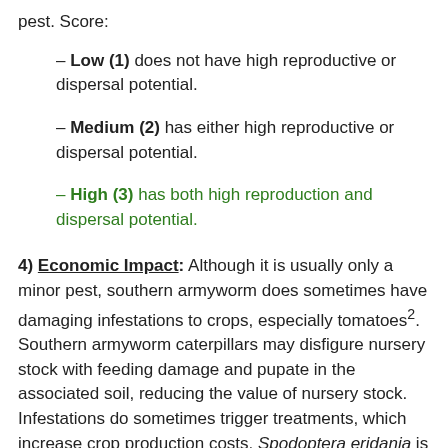pest. Score:
– Low (1) does not have high reproductive or dispersal potential.
– Medium (2) has either high reproductive or dispersal potential.
– High (3) has both high reproduction and dispersal potential.
4) Economic Impact: Although it is usually only a minor pest, southern armyworm does sometimes have damaging infestations to crops, especially tomatoes². Southern armyworm caterpillars may disfigure nursery stock with feeding damage and pupate in the associated soil, reducing the value of nursery stock. Infestations do sometimes trigger treatments, which increase crop production costs. Spodoptera eridania is listed as a harmful organism and quarantine pest by